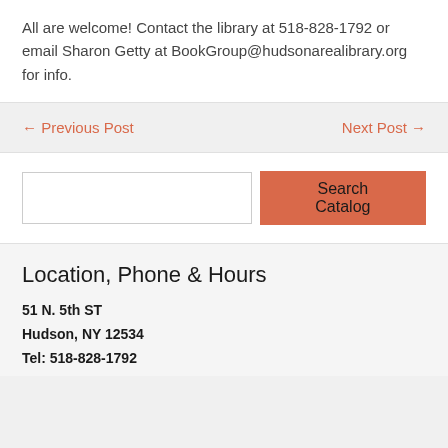All are welcome! Contact the library at 518-828-1792 or email Sharon Getty at BookGroup@hudsonarealibrary.org for info.
← Previous Post
Next Post →
[Figure (other): Search input box and Search Catalog button]
Location, Phone & Hours
51 N. 5th ST
Hudson, NY 12534
Tel: 518-828-1792